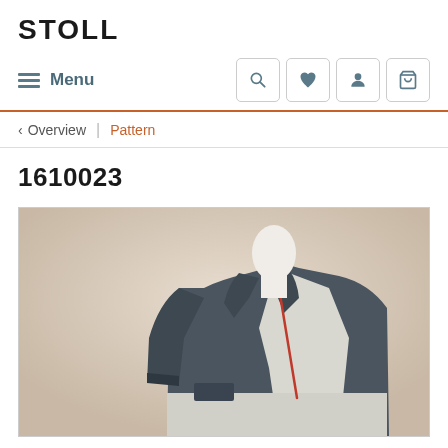STOLL
Menu
< Overview | Pattern
1610023
[Figure (photo): A mannequin torso displaying a knitted jacket in dark grey/charcoal with white panel details and a red accent line, shown from a side angle on a beige background. Small red watermark text in upper left corner of image.]